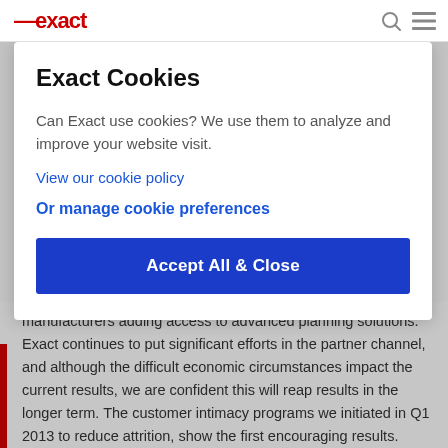exact (logo)
Exact Cookies
Can Exact use cookies? We use them to analyze and improve your website visit.
View our cookie policy
Or manage cookie preferences
Accept All & Close
manufacturers adding access to advanced planning solutions. Exact continues to put significant efforts in the partner channel, and although the difficult economic circumstances impact the current results, we are confident this will reap results in the longer term. The customer intimacy programs we initiated in Q1 2013 to reduce attrition, show the first encouraging results. Attrition went down from 8.7% in H1 2012 to 7.5% in H1 2013.